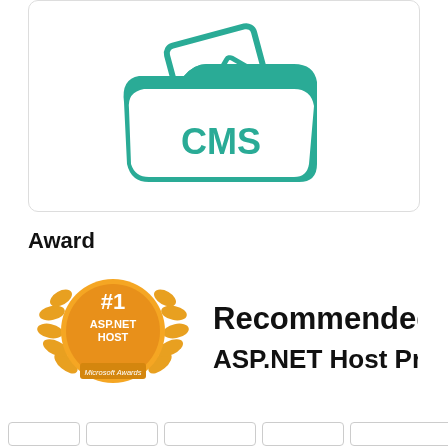[Figure (logo): CMS folder icon with teal color, showing a folder with documents inside labeled CMS]
Award
[Figure (logo): #1 ASP.NET HOST Microsoft Awards badge with laurel wreath in gold, alongside text 'Recommended ASP.NET Host Provider' in black]
[Figure (other): Row of partially visible button/tag elements at the bottom of the page]